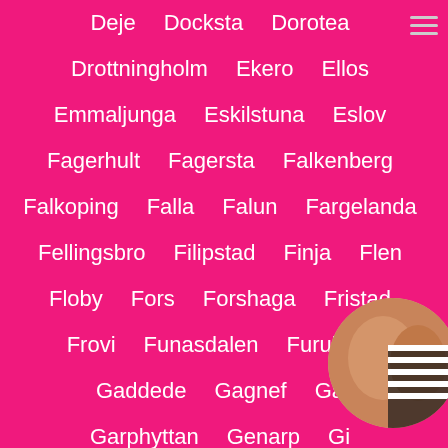Deje   Docksta   Dorotea
Drottningholm   Ekero   Ellos
Emmaljunga   Eskilstuna   Eslov
Fagerhult   Fagersta   Falkenberg
Falkoping   Falla   Falun   Fargelanda
Fellingsbro   Filipstad   Finja   Flen
Floby   Fors   Forshaga   Fristad
Frovi   Funasdalen   Furulund
Gaddede   Gagnef   Ga...
Garphyttan   Genarp   Gi...
Glimakra   Gnesta   Gnosjo
[Figure (photo): Circular avatar image partially overlaying the bottom-right of the page, showing a person in a striped bikini top.]